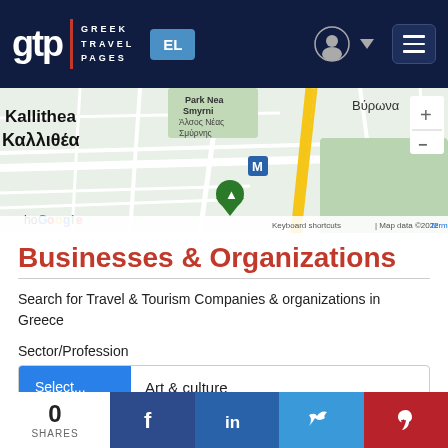gtp | GREEK TRAVEL PAGES | EL
[Figure (map): Google Maps screenshot showing Kallithea / Καλλιθέα area of Athens, Greece, with Park Nea Smyrni and Βύρωνας visible]
Businesses & Organizations
Search for Travel & Tourism Companies & organizations in Greece
Sector/Profession
Select...  Art & culture
Location
ANO PETRALONA (City quarter) ATHENS
0 SHARES  f  in  Twitter  Pinterest